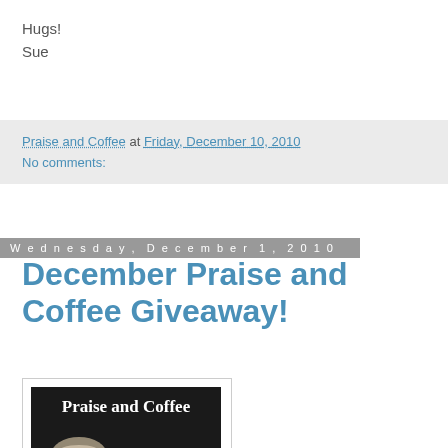Hugs!
Sue
Praise and Coffee at Friday, December 10, 2010
No comments:
Wednesday, December 1, 2010
December Praise and Coffee Giveaway!
[Figure (illustration): Praise and Coffee Monthly giveaways promotional image showing a coffee cup with the text 'Praise and Coffee' and 'Monthly giveaways!']
It's time for another giveaway and this month we will have 2 winners!!!